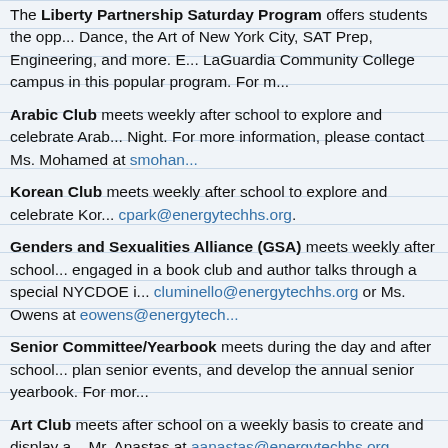The Liberty Partnership Saturday Program offers students the opportunity to take classes in Dance, the Art of New York City, SAT Prep, Engineering, and more. E... LaGuardia Community College campus in this popular program. For m...
Arabic Club meets weekly after school to explore and celebrate Arab... Night. For more information, please contact Ms. Mohamed at smohan...
Korean Club meets weekly after school to explore and celebrate Kor... cpark@energytechhs.org.
Genders and Sexualities Alliance (GSA) meets weekly after school... engaged in a book club and author talks through a special NYCDOE i... cluminello@energytechhs.org or Ms. Owens at eowens@energytech...
Senior Committee/Yearbook meets during the day and after school... plan senior events, and develop the annual senior yearbook. For mor...
Art Club meets after school on a weekly basis to create and display a... Mr. Anastas at aanastas@energytechhs.org.
Stay tuned for more current offerings in fall of 2018!
Want to propose a club that you don't see listed? Please contact Ms....